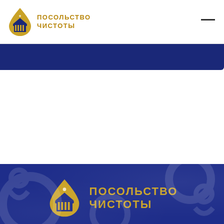[Figure (logo): Посольство Чистоты logo: gold drop with building/columns icon, text ПОСОЛЬСТВО ЧИСТОТЫ in gold uppercase]
[Figure (other): Dark navy blue navigation bar below the header]
[Figure (logo): Large Посольство Чистоты logo on dark blue background with gold drop/building icon and gold uppercase text ПОСОЛЬСТВО ЧИСТОТЫ]
Чистота и порядок в вашей квартире, доме или офисе является основной задачей нашей компании.